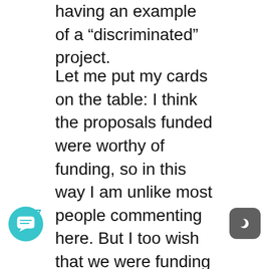having an example of a “discriminated” project.
Let me put my cards on the table: I think the proposals funded were worthy of funding, so in this way I am unlike most people commenting here. But I too wish that we were funding a more diverse (excuse my French here) set of projects. In fact, this is the main reason I’ve been commenting in this thread. Even though I know I am not going to convince my fellow commenters here, I do worry that this will become a self-fulfilling prophecy. Because people are persuaded that only a certain type of project gets funded , they’ll be discourage from applying. And I hope that